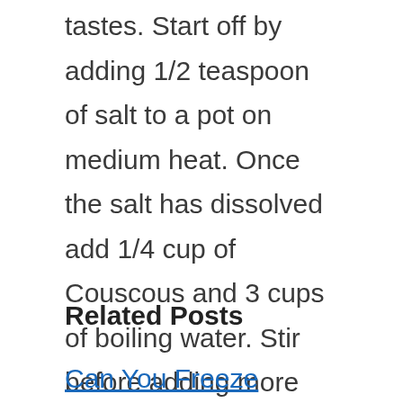tastes. Start off by adding 1/2 teaspoon of salt to a pot on medium heat. Once the salt has dissolved add 1/4 cup of Couscous and 3 cups of boiling water. Stir before adding more water if needed. When all the water has been absorbed stir in 2 teaspoons oil and a pinch of saffron
Related Posts
Can You Freeze Couscous? The